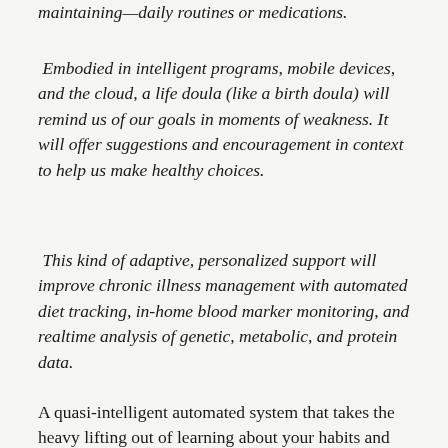maintaining—daily routines or medications.
Embodied in intelligent programs, mobile devices, and the cloud, a life doula (like a birth doula) will remind us of our goals in moments of weakness. It will offer suggestions and encouragement in context to help us make healthy choices.
This kind of adaptive, personalized support will improve chronic illness management with automated diet tracking, in-home blood marker monitoring, and realtime analysis of genetic, metabolic, and protein data.
A quasi-intelligent automated system that takes the heavy lifting out of learning about your habits and